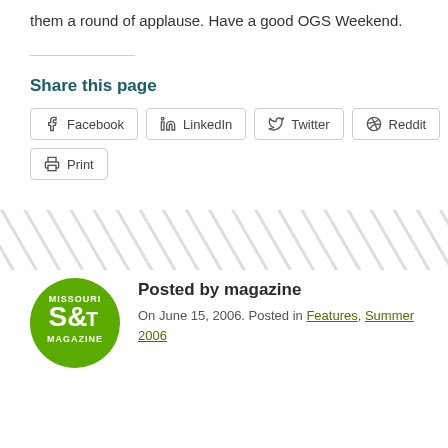them a round of applause. Have a good OGS Weekend.
Share this page
[Figure (other): Social sharing buttons: Facebook, LinkedIn, Twitter, Reddit, Print]
[Figure (logo): Missouri S&T Magazine circular green logo]
Posted by magazine
On June 15, 2006. Posted in Features, Summer 2006